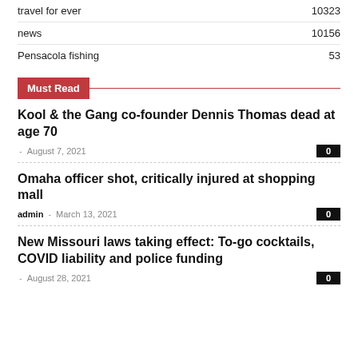travel for ever  10323
news  10156
Pensacola fishing  53
Must Read
Kool & the Gang co-founder Dennis Thomas dead at age 70
- August 7, 2021  0
Omaha officer shot, critically injured at shopping mall
admin - March 13, 2021  0
New Missouri laws taking effect: To-go cocktails, COVID liability and police funding
- August 28, 2021  0